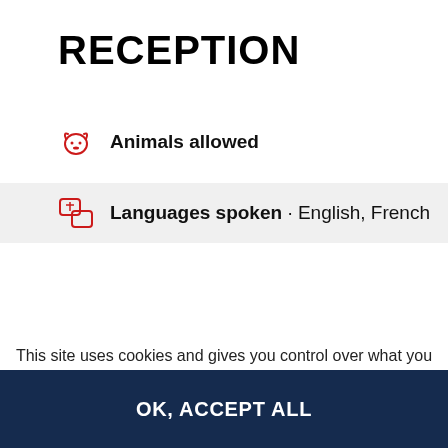RECEPTION
Animals allowed
Languages spoken · English, French
This site uses cookies and gives you control over what you want to activate
DENY ALL COOKIES
PERSONALIZE
OK, ACCEPT ALL